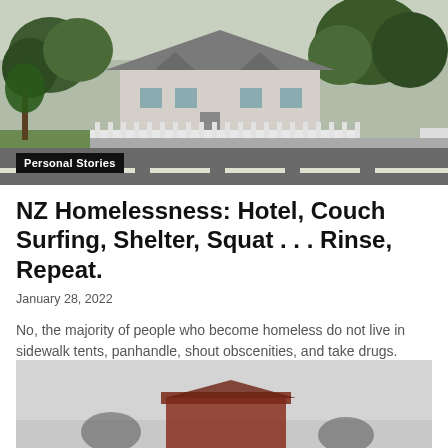[Figure (photo): Outdoor street scene with a historic house, white picket fence, large trees, and a road in the foreground. New Zealand residential neighborhood.]
Personal Stories
NZ Homelessness: Hotel, Couch Surfing, Shelter, Squat . . . Rinse, Repeat.
January 28, 2022
No, the majority of people who become homeless do not live in sidewalk tents, panhandle, shout obscenities, and take drugs. Here's a much more typical story of a couple of...
[Figure (photo): Misty or overcast outdoor scene with a red building or structure visible in the lower center, set against a grey sky.]